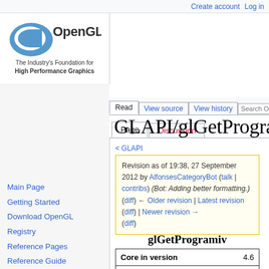Create account  Log in
[Figure (logo): OpenGL logo with tagline: The Industry's Foundation for High Performance Graphics]
The Industry's Foundation for High Performance Graphics
Page  Discussion
Read  View source  View history  Search OpenGL
GLAPI/glGetProgram
< GLAPI
Revision as of 19:38, 27 September 2012 by AlfonsesCategoryBot (talk | contribs) (Bot: Adding better formatting.) (diff) ← Older revision | Latest revision (diff) | Newer revision → (diff)
glGetProgramiv
|  |  |
| --- | --- |
| Core in version | 4.6 |
| Core since version | 2.0 |
glGetProgramiv: Returns a parameter from a program object
Main Page
Getting Started
Download OpenGL
Registry
Reference Pages
Reference Guide
News
Community Forums
About OpenGL
Help
Contact Us
Privacy Policy
Help Editing